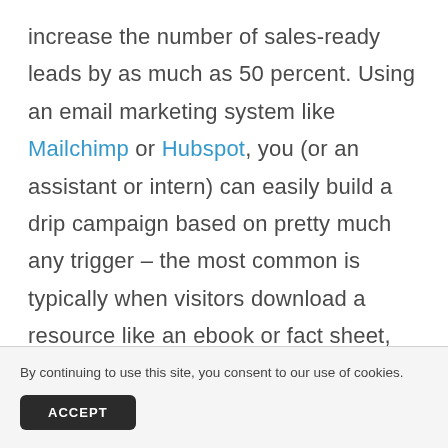increase the number of sales-ready leads by as much as 50 percent. Using an email marketing system like Mailchimp or Hubspot, you (or an assistant or intern) can easily build a drip campaign based on pretty much any trigger – the most common is typically when visitors download a resource like an ebook or fact sheet,
By continuing to use this site, you consent to our use of cookies.